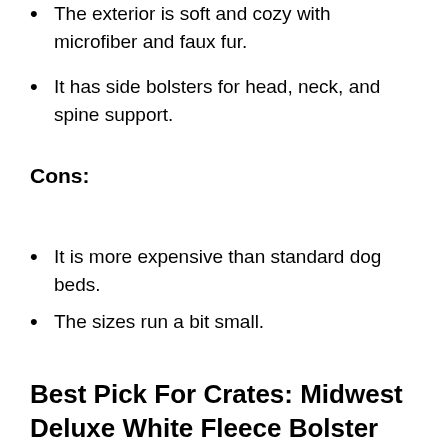The exterior is soft and cozy with microfiber and faux fur.
It has side bolsters for head, neck, and spine support.
Cons:
It is more expensive than standard dog beds.
The sizes run a bit small.
Best Pick For Crates: Midwest Deluxe White Fleece Bolster